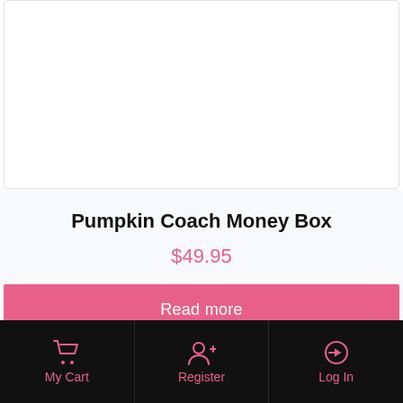[Figure (other): White product image card area (top portion, image not visible)]
Pumpkin Coach Money Box
$49.95
Read more
[Figure (other): White product card area (bottom portion, partially visible)]
My Cart  Register  Log In